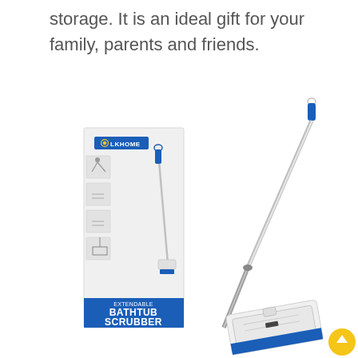storage. It is an ideal gift for your family, parents and friends.
[Figure (photo): Product photo of LKHOME Extendable Bathtub Scrubber showing the product packaging box on the left with blue label, and the actual scrubber with long extendable handle and two brush head attachments on the right against white background.]